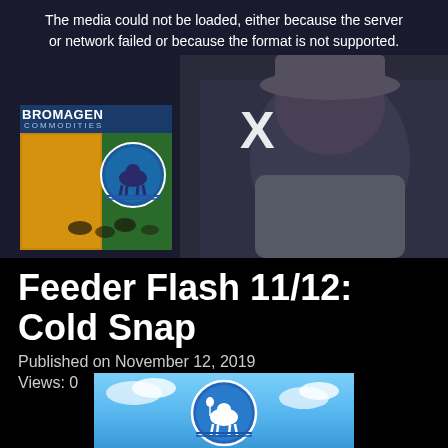[Figure (screenshot): Video player showing error message 'The media could not be loaded, either because the server or network failed or because the format is not supported.' with Bromagen Commodities logo on left and a man wearing a cowboy hat on the right with an X mark overlay]
Feeder Flash 11/12: Cold Snap
Published on November 12, 2019
Views: 0
[Figure (logo): Bromagen Commodities circular logo with cow/livestock and field imagery on blue sky background]